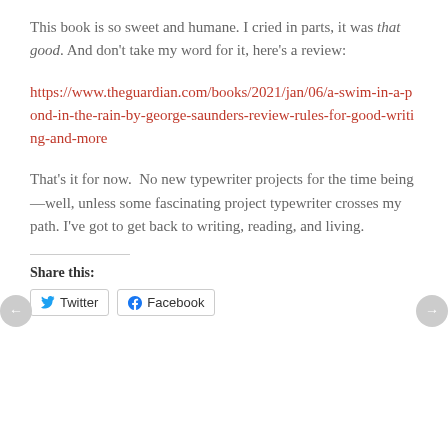This book is so sweet and humane. I cried in parts, it was that good. And don't take my word for it, here's a review:
https://www.theguardian.com/books/2021/jan/06/a-swim-in-a-pond-in-the-rain-by-george-saunders-review-rules-for-good-writing-and-more
That's it for now.  No new typewriter projects for the time being—well, unless some fascinating project typewriter crosses my path. I've got to get back to writing, reading, and living.
Share this:
Twitter   Facebook